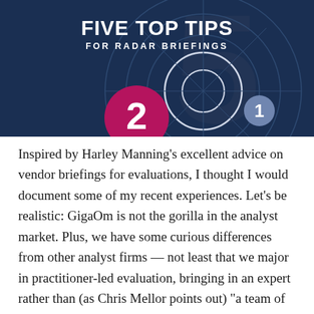[Figure (infographic): Dark navy blue header with a large radar/target circle graphic in the background showing concentric rings with crosshair lines. A large number '5' is visible in the background. A pink/magenta circle with the number '2' is visible in the lower-left area. A smaller blue-gray circle with the number '1' is visible in the lower-right area. The title 'FIVE TOP TIPS' and subtitle 'FOR RADAR BRIEFINGS' are overlaid on the header.]
FIVE TOP TIPS
FOR RADAR BRIEFINGS
Inspired by Harley Manning’s excellent advice on vendor briefings for evaluations, I thought I would document some of my recent experiences. Let’s be realistic: GigaOm is not the gorilla in the analyst market. Plus, we have some curious differences from other analyst firms — not least that we major in practitioner-led evaluation, bringing in an expert rather than (as Chris Mellor points out) “a team of consultants”. Nothing wrong with either approach, as I have said before, they’re just different.